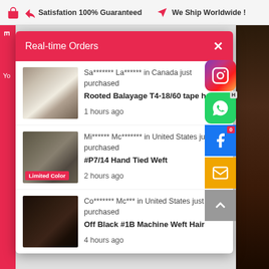Satisfation 100% Guaranteed  ✈ We Ship Worldwide !
Real-time Orders
Sa******* La****** in Canada just purchased
Rooted Balayage T4-18/60 tape hair
1 hours ago
Mi****** Mc******* in United States just purchased
#P7/14 Hand Tied Weft
Limited Color
2 hours ago
Co******* Mc*** in United States just purchased
Off Black #1B Machine Weft Hair
4 hours ago